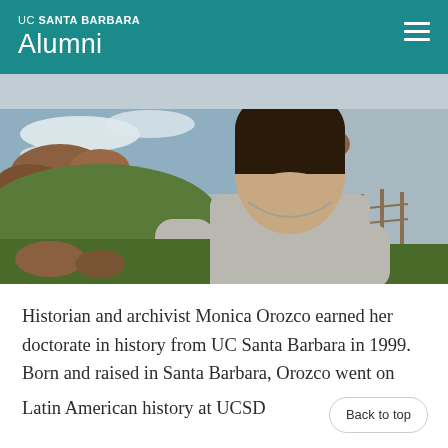UC SANTA BARBARA Alumni
[Figure (photo): Outdoor photo of Monica Orozco seated near a coastal landscape with rocks, ocean waves, and greenery in the background. She is wearing a light gray long-sleeve shirt.]
Historian and archivist Monica Orozco earned her doctorate in history from UC Santa Barbara in 1999. Born and raised in Santa Barbara, Orozco went on to Latin American history at UCSD...